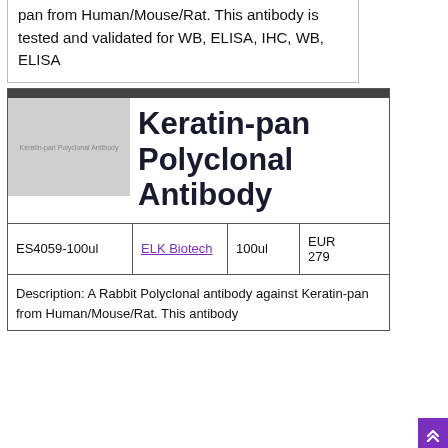...pan from Human/Mouse/Rat. This antibody is tested and validated for WB, ELISA, IHC, WB, ELISA
[Figure (photo): Placeholder image for Keratin-pan Polyclonal Antibody product]
Keratin-pan Polyclonal Antibody
| Catalog | Supplier | Size | Price |
| --- | --- | --- | --- |
| ES4059-100ul | ELK Biotech | 100ul | EUR 279 |
Description: A Rabbit Polyclonal antibody against Keratin-pan from Human/Mouse/Rat. This antibody